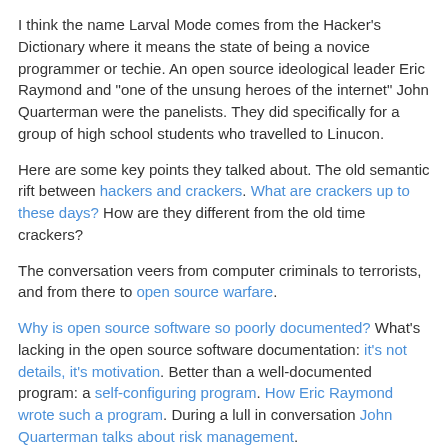I think the name Larval Mode comes from the Hacker's Dictionary where it means the state of being a novice programmer or techie. An open source ideological leader Eric Raymond and "one of the unsung heroes of the internet" John Quarterman were the panelists. They did specifically for a group of high school students who travelled to Linucon.
Here are some key points they talked about. The old semantic rift between hackers and crackers. What are crackers up to these days? How are they different from the old time crackers?
The conversation veers from computer criminals to terrorists, and from there to open source warfare.
Why is open source software so poorly documented? What's lacking in the open source software documentation: it's not details, it's motivation. Better than a well-documented program: a self-configuring program. How Eric Raymond wrote such a program. During a lull in conversation John Quarterman talks about risk management.
How did the twoferences discriminate between the two crowds?